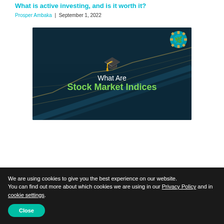What is active investing, and is it worth it?
Prosper Ambaka | September 1, 2022
[Figure (illustration): Dark blue financial background with a graduation cap icon, text 'What Are' in white and 'Stock Market Indices' in green, with a gear/leaf logo in the top right corner.]
We are using cookies to give you the best experience on our website.
You can find out more about which cookies we are using in our Privacy Policy and in cookie settings.